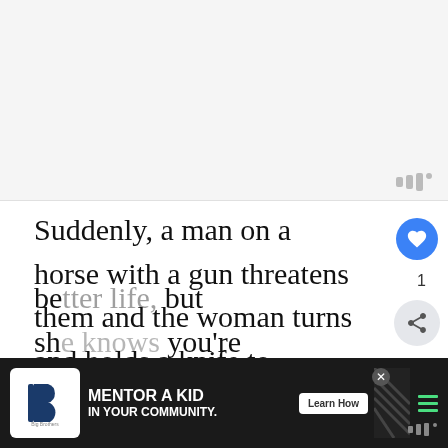[Figure (photo): Large image placeholder area at top of article page, light gray background]
Suddenly, a man on a horse with a gun threatens them and the woman turns and holds a knife to Murphy's throat. She has th put everything they have in the cart still hopeful though. They're all looking for a be , but sh you're
[Figure (screenshot): What's Next promotional widget showing 'Game of Thrones'... with buddy circle icon]
[Figure (screenshot): Big Brothers Big Sisters advertisement banner: MENTOR A KID IN YOUR COMMUNITY. Learn How button]